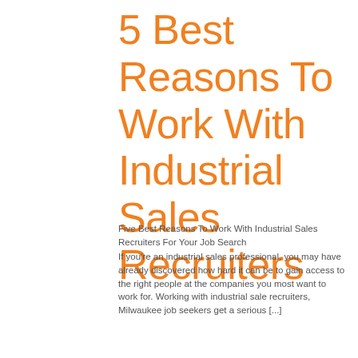5 Best Reasons To Work With Industrial Sales Recruiters
Five Best Reasons To Work With Industrial Sales Recruiters For Your Job Search
If you're an industrial sales professional, you may have already discovered how hard it can be to gain access to the right people at the companies you most want to work for. Working with industrial sale recruiters, Milwaukee job seekers get a serious [...]